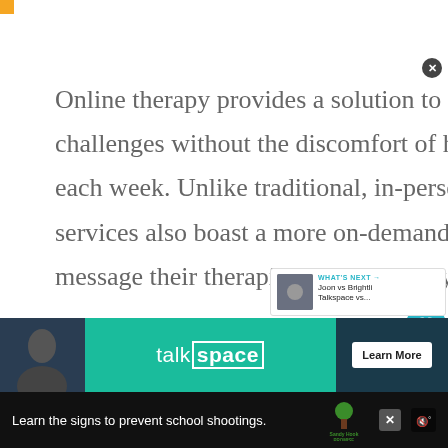Online therapy provides a solution to addressing mental health challenges without the discomfort of having to commute to a therapist each week. Unlike traditional, in-person sessions, virtual therapy services also boast a more on-demand approach, allowing clients to message their therapist 24/7. And they
[Figure (screenshot): Social interaction buttons: a heart/like button (teal circle) with count '1', and a share button below it]
[Figure (screenshot): WHAT'S NEXT panel showing thumbnail image and text 'Joon vs Brightli Talkspace vs...']
[Figure (screenshot): Talkspace advertisement banner with dark background, person photo on left, talkspace logo in teal center, and Learn More button on right]
[Figure (screenshot): Sandy Hook Promise advertisement bar at bottom: 'Learn the signs to prevent school shootings.' with Sandy Hook Promise logo and close button]